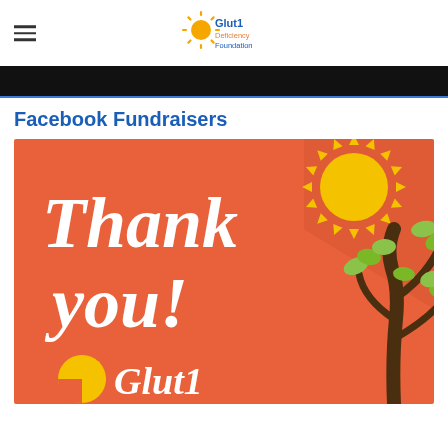Glut1 Deficiency Foundation (logo)
Facebook Fundraisers
[Figure (illustration): Thank you card with orange background, white serif text reading 'Thank you!', a yellow sun with rays in upper right, a tree with green leaves on right side, a partial yellow sun in lower left, and Glut1 logo text in white at bottom.]